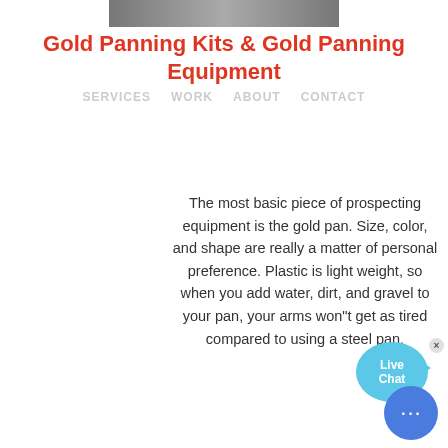[Figure (photo): Partial photo strip visible at top of page]
Gold Panning Kits & Gold Panning Equipment
SERVICES   WORK   ABOUT   CONTACT
The most basic piece of prospecting equipment is the gold pan. Size, color, and shape are really a matter of personal preference. Plastic is light weight, so when you add water, dirt, and gravel to your pan, your arms won"t get as tired compared to using a steel pan.
COLOR:
Orange
Blue
Yellow
IGALENA CONE CRUSHER
MINERAL PROCESS OF CALCITE